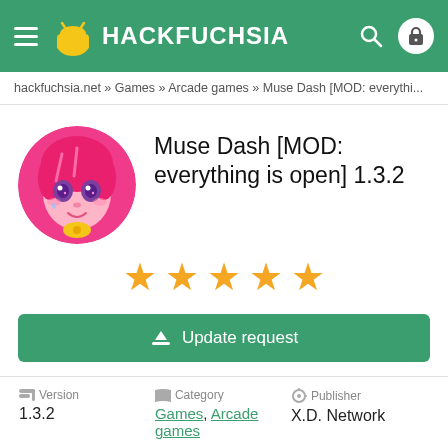HACKFUCHSIA
hackfuchsia.net » Games » Arcade games » Muse Dash [MOD: everythi...
[Figure (illustration): Circular app icon for Muse Dash featuring an anime-style girl with pink hair and purple eyes on a pink background]
Muse Dash [MOD: everything is open] 1.3.2
[Figure (other): Five gold star rating]
Update request
| Version | Category | Publisher |
| --- | --- | --- |
| 1.3.2 | Games, Arcade games | X.D. Network |